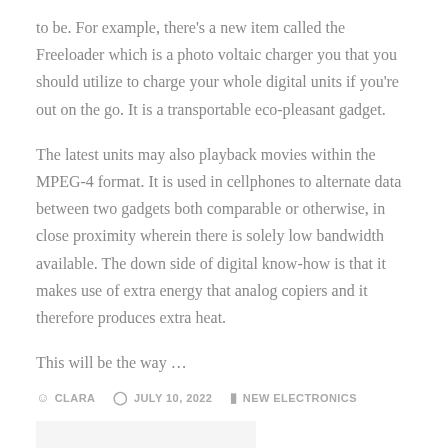to be. For example, there’s a new item called the Freeloader which is a photo voltaic charger you that you should utilize to charge your whole digital units if you’re out on the go. It is a transportable eco-pleasant gadget.
The latest units may also playback movies within the MPEG-4 format. It is used in cellphones to alternate data between two gadgets both comparable or otherwise, in close proximity wherein there is solely low bandwidth available. The down side of digital know-how is that it makes use of extra energy that analog copiers and it therefore produces extra heat.
This will be the way …
• CLARA  ○ JULY 10, 2022  □ NEW ELECTRONICS
CONTINUE READING ›